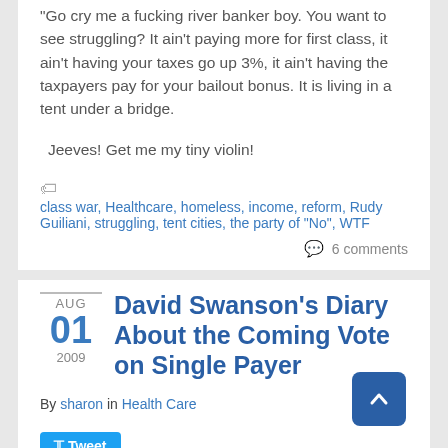Go cry me a fucking river banker boy. You want to see struggling? It ain't paying more for first class, it ain't having your taxes go up 3%, it ain't having the taxpayers pay for your bailout bonus. It is living in a tent under a bridge.
Jeeves! Get me my tiny violin!
class war, Healthcare, homeless, income, reform, Rudy Guiliani, struggling, tent cities, the party of "No", WTF
6 comments
AUG 01 2009
David Swanson's Diary About the Coming Vote on Single Payer
By sharon in Health Care